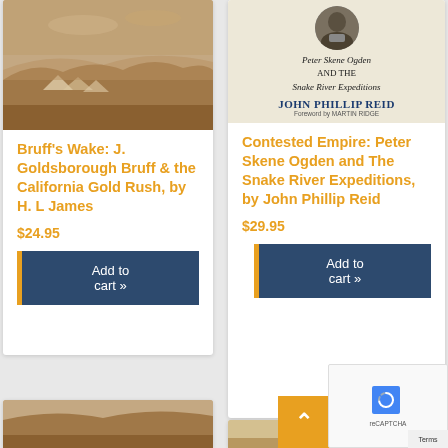[Figure (photo): Sepia-toned historical photograph of a landscape with tents and hills — book cover for Bruff's Wake]
Bruff's Wake: J. Goldsborough Bruff & the California Gold Rush, by H. L James
$24.95
Add to cart »
[Figure (photo): Book cover for Contested Empire: Peter Skene Ogden and The Snake River Expeditions by John Phillip Reid, with portrait photograph and stylized text]
Contested Empire: Peter Skene Ogden and The Snake River Expeditions, by John Phillip Reid
$29.95
Add to cart »